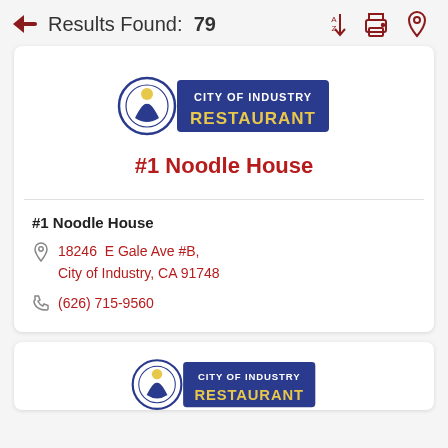Results Found: 79
[Figure (logo): City of Industry Restaurant logo with circular emblem and blue/gold badge]
#1 Noodle House
#1 Noodle House
18246 E Gale Ave #B, City of Industry, CA 91748
(626) 715-9560
[Figure (logo): City of Industry Restaurant logo partial (second card, cropped at bottom)]